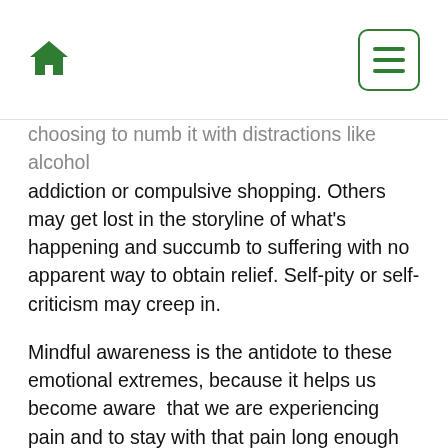Home icon and menu button
choosing to numb it with distractions like alcohol addiction or compulsive shopping. Others may get lost in the storyline of what's happening and succumb to suffering with no apparent way to obtain relief. Self-pity or self-criticism may creep in.
Mindful awareness is the antidote to these emotional extremes, because it helps us become aware that we are experiencing pain and to stay with that pain long enough to make a conscious decision to take care of ourselves. “One easy thing is physical touch,” says Neff. “The first few years of life you have no words, so the body is programmed to respond to touch as a signal of care. Put your hand on your heart or your stomach, or hold your hand. This changes your physiology, activates your parasympathetic nervous system, helps you calm down and helps you feel